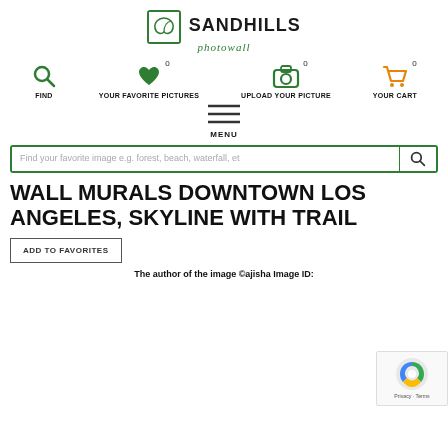[Figure (logo): Sandhills Photowall logo with leaf icon, bold SANDHILLS text and italic photowall script]
[Figure (infographic): Navigation icon row: Find (magnifying glass), Your Favorite Pictures (heart, badge 0), Upload Your Picture (camera, badge 0), Your Cart (shopping cart, badge 0)]
[Figure (infographic): Hamburger menu icon with MENU label below]
[Figure (screenshot): Search bar with placeholder text: Find your favorite image e.g. forest, beach, waterfall, et — and a search button]
WALL MURALS DOWNTOWN LOS ANGELES, SKYLINE WITH TRAIL
[Figure (infographic): ADD TO FAVORITES button (outlined rectangle)]
[Figure (infographic): reCAPTCHA badge with Google logo, Privacy and Terms text]
The author of the image ©ajisha Image ID: